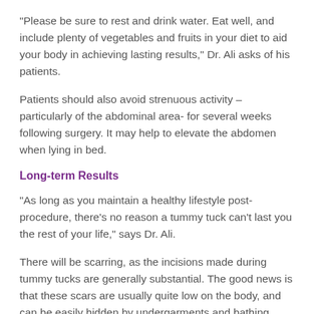“Please be sure to rest and drink water. Eat well, and include plenty of vegetables and fruits in your diet to aid your body in achieving lasting results,” Dr. Ali asks of his patients.
Patients should also avoid strenuous activity – particularly of the abdominal area- for several weeks following surgery. It may help to elevate the abdomen when lying in bed.
Long-term Results
“As long as you maintain a healthy lifestyle post-procedure, there’s no reason a tummy tuck can’t last you the rest of your life,” says Dr. Ali.
There will be scarring, as the incisions made during tummy tucks are generally substantial. The good news is that these scars are usually quite low on the body, and can be easily hidden by undergarments and bathing